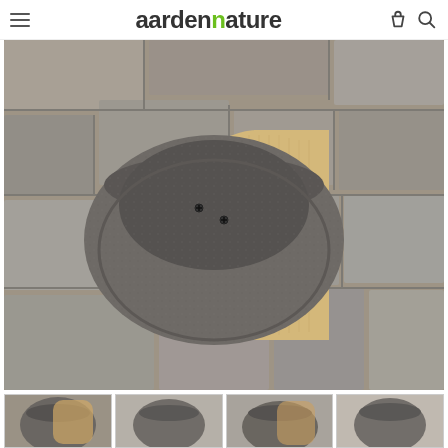gardenature
[Figure (photo): A grey felt/wool open bird nest cup mounted on a light wooden semicircular backplate, attached to a rough stone wall. The nest cup is bowl-shaped with a textured grey surface and secured with screws.]
[Figure (photo): Thumbnail 1 of product]
[Figure (photo): Thumbnail 2 of product]
[Figure (photo): Thumbnail 3 of product]
[Figure (photo): Thumbnail 4 of product]